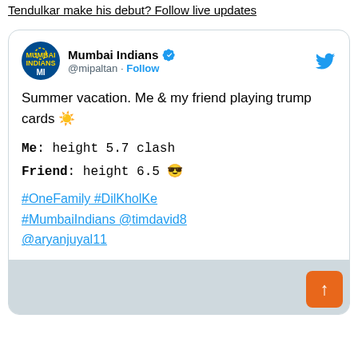Tendulkar make his debut? Follow live updates
Mumbai Indians @mipaltan · Follow
Summer vacation. Me & my friend playing trump cards ☀️

Me: height 5.7 clash
Friend: height 6.5 😎

#OneFamily #DilKholKe #MumbaiIndians @timdavid8 @aryanjuyal11
[Figure (other): Gray placeholder image area at bottom of tweet card]